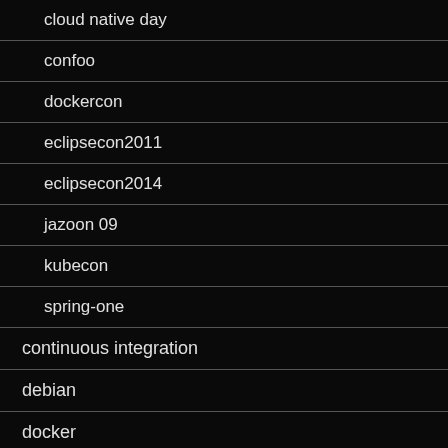cloud native day
confoo
dockercon
eclipsecon2011
eclipsecon2014
jazoon 09
kubecon
spring-one
continuous integration
debian
docker
eclipse
fr